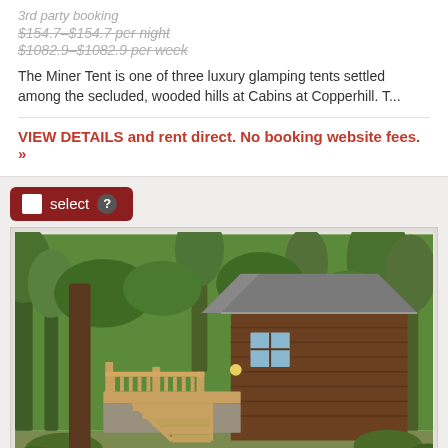3rd party booking
$154.7–$154.7 per night
$1082.9–$1082.9 per week
The Miner Tent is one of three luxury glamping tents settled among the secluded, wooded hills at Cabins at Copperhill. T...
VIEW DETAILS and rent direct. No booking website fees. »
select
[Figure (photo): Exterior photo of a rustic wooden cabin surrounded by green trees, with wooden stairs and a deck/porch, shot in daylight. A watermark reading 'backlotop' appears in the bottom right corner.]